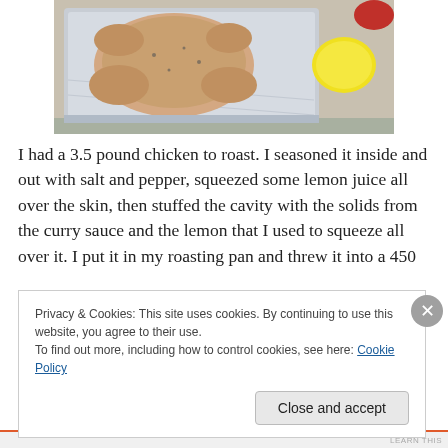[Figure (photo): Raw whole chicken in a foil roasting tray on a granite countertop, with a lemon and other items in the background.]
I had a 3.5 pound chicken to roast. I seasoned it inside and out with salt and pepper, squeezed some lemon juice all over the skin, then stuffed the cavity with the solids from the curry sauce and the lemon that I used to squeeze all over it. I put it in my roasting pan and threw it into a 450
Privacy & Cookies: This site uses cookies. By continuing to use this website, you agree to their use.
To find out more, including how to control cookies, see here: Cookie Policy
Close and accept